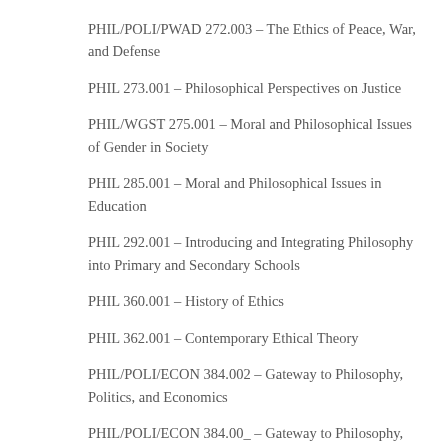PHIL/POLI/PWAD 272.003 – The Ethics of Peace, War, and Defense
PHIL 273.001 – Philosophical Perspectives on Justice
PHIL/WGST 275.001 – Moral and Philosophical Issues of Gender in Society
PHIL 285.001 – Moral and Philosophical Issues in Education
PHIL 292.001 – Introducing and Integrating Philosophy into Primary and Secondary Schools
PHIL 360.001 – History of Ethics
PHIL 362.001 – Contemporary Ethical Theory
PHIL/POLI/ECON 384.002 – Gateway to Philosophy, Politics, and Economics
PHIL/POLI/ECON 384.00_ – Gateway to Philosophy, Politi…